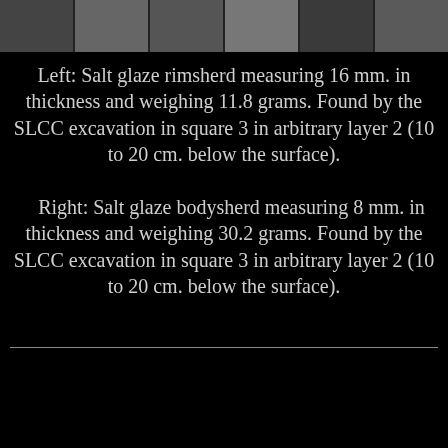[Figure (photo): Strip of archaeological ceramic sherd photos at the top of the page]
Left: Salt glaze rimsherd measuring 16 mm. in thickness and weighing 11.8 grams. Found by the SLCC excavation in square 3 in arbitrary layer 2 (10 to 20 cm. below the surface).
    Right: Salt glaze bodysherd measuring 8 mm. in thickness and weighing 30.2 grams. Found by the SLCC excavation in square 3 in arbitrary layer 2 (10 to 20 cm. below the surface).